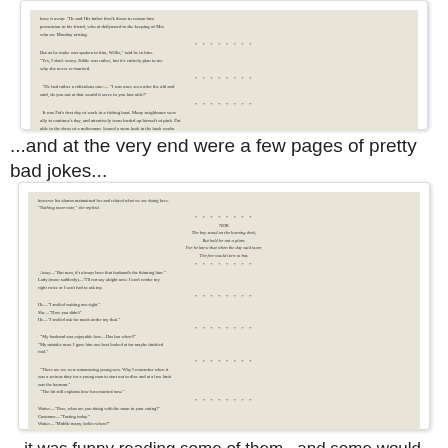[Figure (photo): A photograph of a book page showing text with asterisk dividers, containing dialogue and narrative prose from what appears to be an older book.]
...and at the very end were a few pages of pretty bad jokes...
[Figure (photo): A photograph of a book page showing jokes and humorous dialogue, with asterisk dividers between jokes. Page number reads 'Page Forty-eight'.]
...it was funny reading some of them...and some would definitely not be politically correct today...